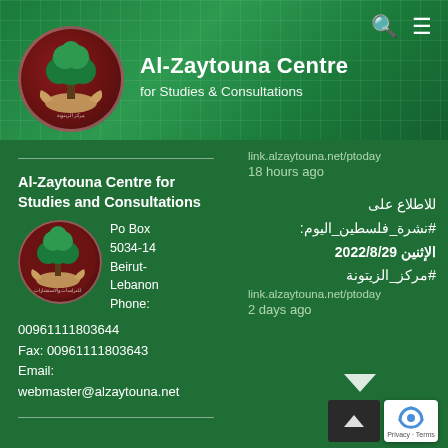Al-Zaytouna Centre for Studies & Consultations
[Figure (logo): Al-Zaytouna Centre circular logo with green tree and Arabic text]
Al-Zaytouna Centre for Studies and Consultations
Po Box 5034-14 Beirut-Lebanon Phone: 00961111803644 Fax: 00961111803643 Email: webmaster@alzaytouna.net
link.alzaytouna.net/ptoday 18 hours ago
للاطلاع على #نشرة_فلسطين_اليوم: الإثنين 2022/8/29 #مركز_الزيتونة link.alzaytouna.net/ptoday 2 days ago